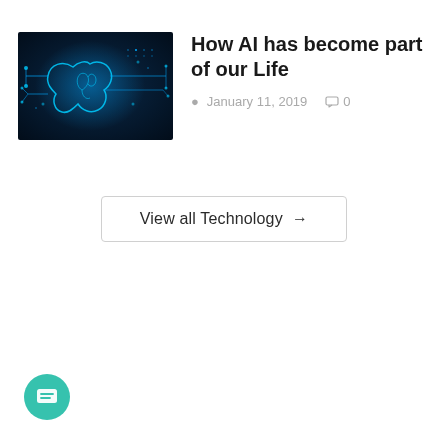[Figure (illustration): AI brain illustration with blue circuit board and glowing neural network lines on dark background]
How AI has become part of our Life
January 11, 2019   0
View all Technology →